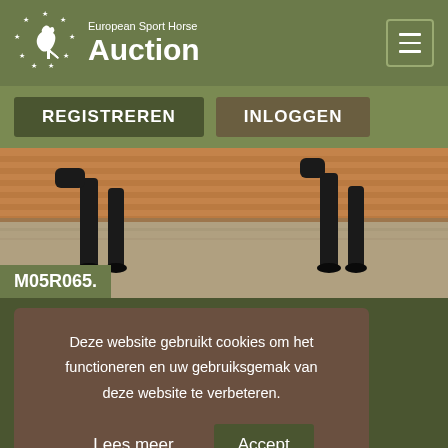European Sport Horse Auction
REGISTREREN   INLOGGEN
[Figure (photo): Close-up photo of a dark horse's legs walking on sandy arena ground, with wooden fence panels in background]
M05R065.
Deze website gebruikt cookies om het functioneren en uw gebruiksgemak van deze website te verbeteren.
Lees meer   Accept
VERKOCHT